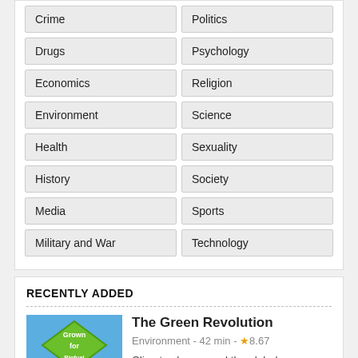Crime
Politics
Drugs
Psychology
Economics
Religion
Environment
Science
Health
Sexuality
History
Society
Media
Sports
Military and War
Technology
RECENTLY ADDED
The Green Revolution
Environment - 42 min - ★8.67
Climate change and the global environmental crisis are...